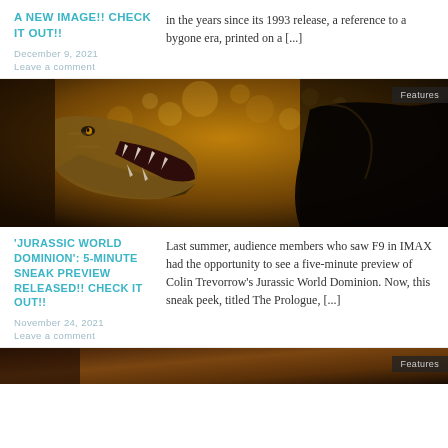A NEW IMAGE!! CHECK IT OUT!!
in the years since its 1993 release, a reference to a bygone era, printed on a [...]
December 9, 2021
Leave a comment
[Figure (photo): A T-Rex dinosaur roaring with mouth wide open, golden bokeh background, dark silhouette of another creature on the right. 'Features' tag in upper right corner.]
'JURASSIC WORLD DOMINION': 5-MINUTE SNEAK PREVIEW RELEASED!! CHECK IT OUT!!
Last summer, audience members who saw F9 in IMAX had the opportunity to see a five-minute preview of Colin Trevorrow's Jurassic World Dominion. Now, this sneak peek, titled The Prologue, [...]
November 24, 2021
Leave a comment
[Figure (photo): Dark brown/orange toned image strip at the bottom of the page, with 'Features' tag in the right corner.]